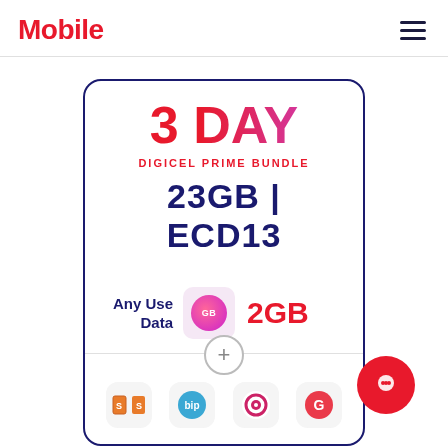Mobile
3 DAY
DIGICEL PRIME BUNDLE
23GB | ECD13
Any Use Data  2GB
[Figure (infographic): Row of app icons: Smash (orange), Bip (blue), Ookla speedtest (red/pink circle), Grammarly (green G)]